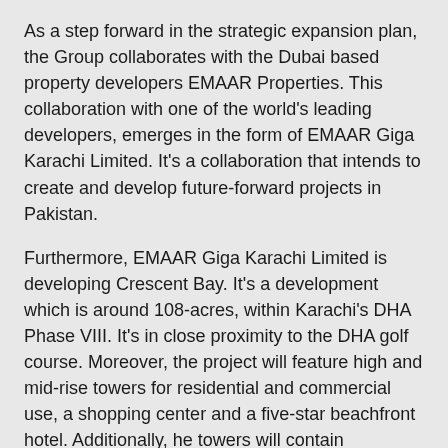As a step forward in the strategic expansion plan, the Group collaborates with the Dubai based property developers EMAAR Properties. This collaboration with one of the world's leading developers, emerges in the form of EMAAR Giga Karachi Limited. It's a collaboration that intends to create and develop future-forward projects in Pakistan.
Furthermore, EMAAR Giga Karachi Limited is developing Crescent Bay. It's a development which is around 108-acres, within Karachi's DHA Phase VIII. It's in close proximity to the DHA golf course. Moreover, the project will feature high and mid-rise towers for residential and commercial use, a shopping center and a five-star beachfront hotel. Additionally, he towers will contain approximately 4,000 residential apartments and will also offer individual architectural styles for each tower within the development. The total cost of the project is around USD 2 billion.